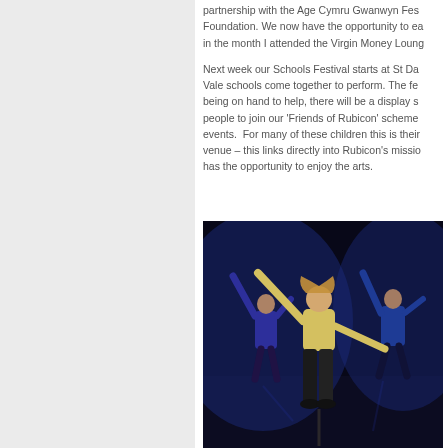partnership with the Age Cymru Gwanwyn Festival Foundation. We now have the opportunity to ea in the month I attended the Virgin Money Loung
Next week our Schools Festival starts at St Da Vale schools come together to perform. The fe being on hand to help, there will be a display s people to join our 'Friends of Rubicon' scheme events.  For many of these children this is thei venue – this links directly into Rubicon's missio has the opportunity to enjoy the arts.
[Figure (photo): Children performing on a darkened stage. A child in a yellow top and black trousers is in the foreground with arms outstretched. Other children in blue outfits are visible in the background with arms raised.]